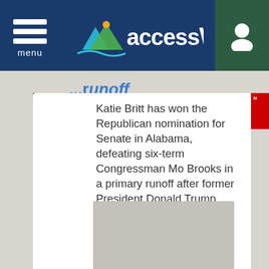accessWDUN — menu / navigation header
...runoff
Katie Britt has won the Republican nomination for Senate in Alabama, defeating six-term Congressman Mo Brooks in a primary runoff after former President Donald Trump endorsed and then un-endorsed him
By The Associated Press   9:32PM ( 47 minutes ago )
[Figure (other): Gray placeholder advertisement or content block]